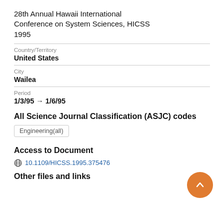28th Annual Hawaii International Conference on System Sciences, HICSS 1995
Country/Territory
United States
City
Wailea
Period
1/3/95 → 1/6/95
All Science Journal Classification (ASJC) codes
Engineering(all)
Access to Document
10.1109/HICSS.1995.375476
Other files and links